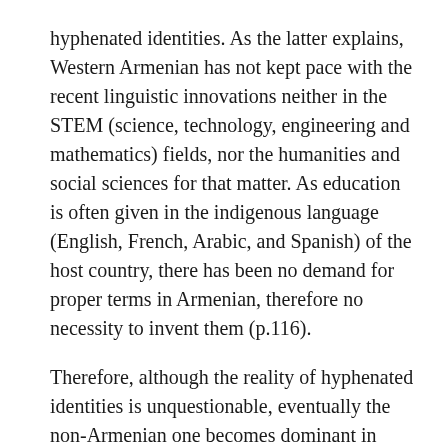hyphenated identities. As the latter explains, Western Armenian has not kept pace with the recent linguistic innovations neither in the STEM (science, technology, engineering and mathematics) fields, nor the humanities and social sciences for that matter. As education is often given in the indigenous language (English, French, Arabic, and Spanish) of the host country, there has been no demand for proper terms in Armenian, therefore no necessity to invent them (p.116).
Therefore, although the reality of hyphenated identities is unquestionable, eventually the non-Armenian one becomes dominant in many ways. It is in this context that we should understand Dadoyan's calls for new and pedagogically updated history textbooks, as well as new